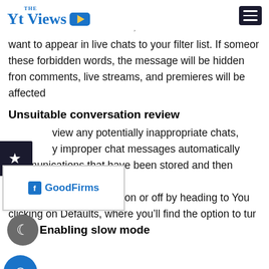THE Yt Views [logo]
want to appear in live chats to your filter list. If someone these forbidden words, the message will be hidden from comments, live streams, and premieres will be affected
Unsuitable conversation review
view any potentially inappropriate chats, y improper chat messages automatically communications that have been stored and then choosi also switch this setting on or off by heading to You clicking on Defaults, where you’ll find the option to tur
Enabling slow mode